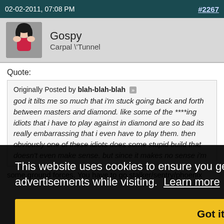02-02-2011, 07:08 PM   #2267
Gospy
Carpal \'Tunnel
Quote:
Originally Posted by blah-blah-blah
god it tilts me so much that i'm stuck going back and forth between masters and diamond. like some of the ****ing idiots that i have to play against in diamond are so bad its really embarrassing that i even have to play them. then obviously one of these idiots does some stupid build that doesn't even make sense. but since it makes no sense i'm
some ground forces. You have to go stalker/sentry/phoenix
This website uses cookies to ensure you get the best experience and relevant advertisements while visiting.  Learn more
Got it!